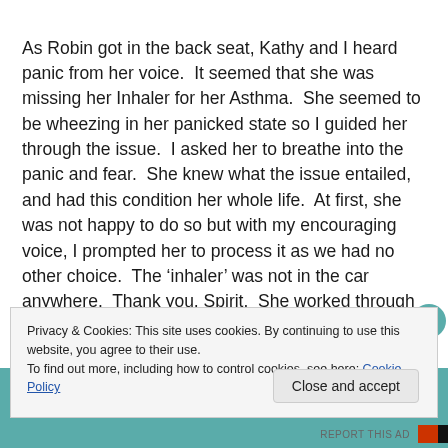As Robin got in the back seat, Kathy and I heard panic from her voice.  It seemed that she was missing her Inhaler for her Asthma.  She seemed to be wheezing in her panicked state so I guided her through the issue.  I asked her to breathe into the panic and fear.  She knew what the issue entailed, and had this condition her whole life.  At first, she was not happy to do so but with my encouraging voice, I prompted her to process it as we had no other choice.  The 'inhaler' was not in the car anywhere.  Thank you, Spirit.  She worked through the issue and came out the other side.  We
Privacy & Cookies: This site uses cookies. By continuing to use this website, you agree to their use.
To find out more, including how to control cookies, see here: Cookie Policy
Close and accept